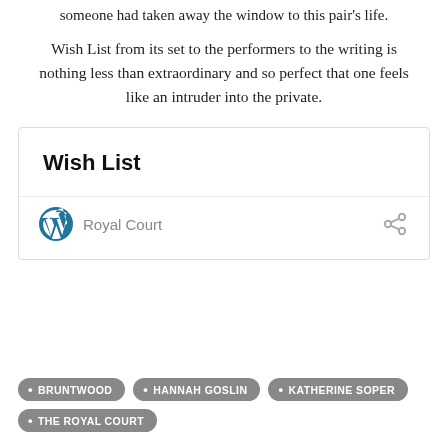someone had taken away the window to this pair's life.
Wish List from its set to the performers to the writing is nothing less than extraordinary and so perfect that one feels like an intruder into the private.
Wish List
Royal Court
BRUNTWOOD
HANNAH GOSLIN
KATHERINE SOPER
THE ROYAL COURT